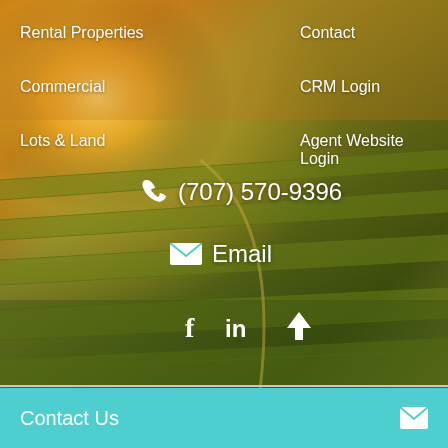[Figure (photo): Vineyard rows at sunset with warm golden light, green vines, rolling hills in background]
Rental Properties
Contact
Commercial
CRM Login
Lots & Land
Agent Website Login
(707) 570-9396
Email
Contact Us